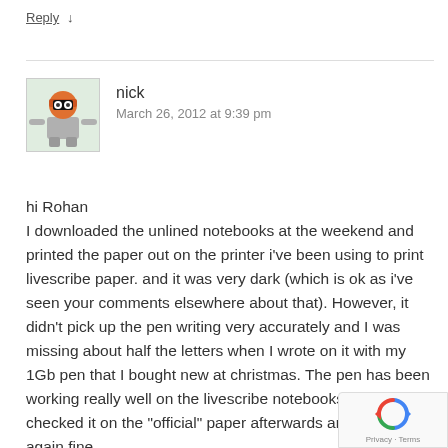Reply ↓
nick
March 26, 2012 at 9:39 pm
[Figure (illustration): User avatar icon — cartoon robot/alien character in orange and grey on light green background]
hi Rohan
I downloaded the unlined notebooks at the weekend and printed the paper out on the printer i've been using to print livescribe paper. and it was very dark (which is ok as i've seen your comments elsewhere about that). However, it didn't pick up the pen writing very accurately and I was missing about half the letters when I wrote on it with my 1Gb pen that I bought new at christmas. The pen has been working really well on the livescribe notebooks and i checked it on the "official" paper afterwards and it worked again fine.

I really wanted your plain paper and your lab notebook paper
[Figure (logo): reCAPTCHA badge with spinning arrows logo and Privacy · Terms text]